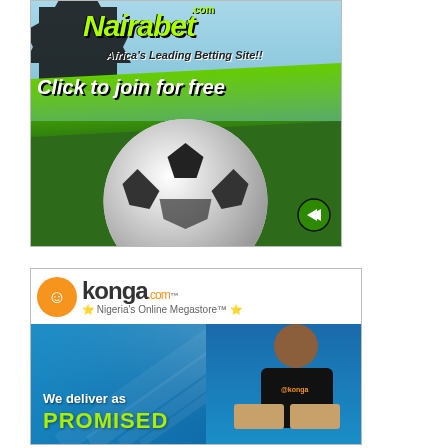[Figure (illustration): Nairabet.com advertisement banner. Africa's Leading Betting Site!! with 'Click to join for free' call-to-action button over a green background with a soccer ball image and an arrow button.]
[Figure (illustration): Konga.com advertisement banner. Nigeria's Online Megastore with 'We deliver as PROMISED' text over blue background with a smiling man wearing a Konga t-shirt holding packages.]